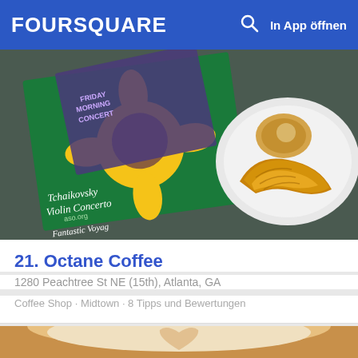FOURSQUARE  In App öffnen
[Figure (photo): Photo of croissant on a plate alongside concert program flyers including Tchaikovsky Violin Concerto and Fantastic Voyage text]
21. Octane Coffee
1280 Peachtree St NE (15th), Atlanta, GA
Coffee Shop · Midtown · 8 Tipps und Bewertungen
[Figure (photo): Close-up photo of a latte with heart-shaped latte art in a white cup]